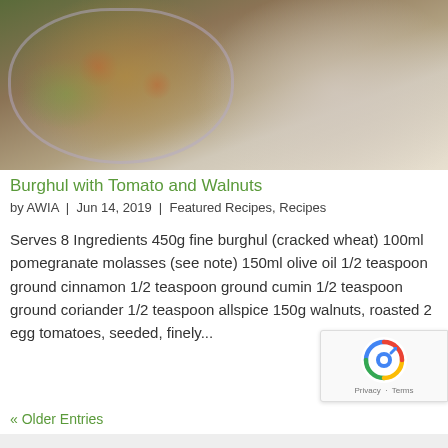[Figure (photo): A bowl of burghul (cracked wheat) salad with tomatoes and green herbs, alongside a decorative silver serving dish with a creamy dip, photographed on a dark surface.]
Burghul with Tomato and Walnuts
by AWIA  |  Jun 14, 2019  |  Featured Recipes, Recipes
Serves 8 Ingredients 450g fine burghul (cracked wheat) 100ml pomegranate molasses (see note) 150ml olive oil 1/2 teaspoon ground cinnamon 1/2 teaspoon ground cumin 1/2 teaspoon ground coriander 1/2 teaspoon allspice 150g walnuts, roasted 2 egg tomatoes, seeded, finely...
« Older Entries